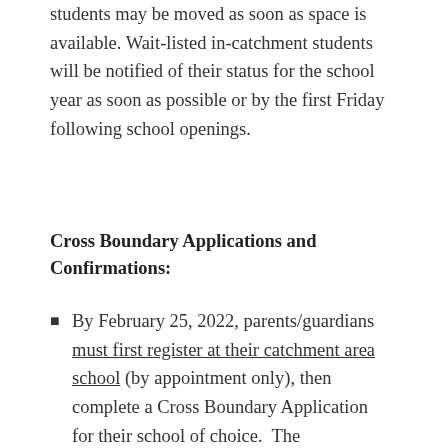students may be moved as soon as space is available. Wait-listed in-catchment students will be notified of their status for the school year as soon as possible or by the first Friday following school openings.
Cross Boundary Applications and Confirmations:
By February 25, 2022, parents/guardians must first register at their catchment area school (by appointment only), then complete a Cross Boundary Application for their school of choice.  The